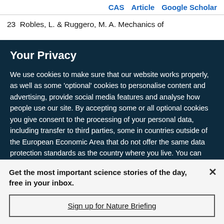CAS  Article  Google Scholar
23  Robles, L. & Ruggero, M. A. Mechanics of
Your Privacy
We use cookies to make sure that our website works properly, as well as some ‘optional’ cookies to personalise content and advertising, provide social media features and analyse how people use our site. By accepting some or all optional cookies you give consent to the processing of your personal data, including transfer to third parties, some in countries outside of the European Economic Area that do not offer the same data protection standards as the country where you live. You can decide which optional cookies to accept by clicking on ‘Manage Settings’, where you can
Get the most important science stories of the day, free in your inbox.
Sign up for Nature Briefing